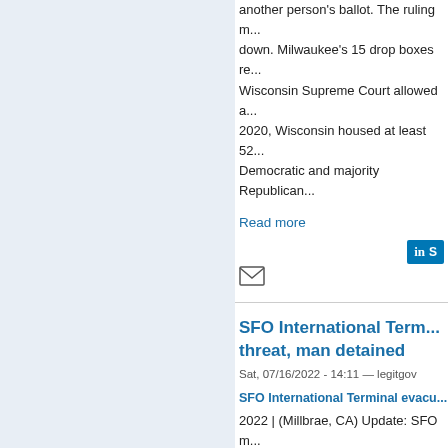another person's ballot. The ruling m... down. Milwaukee's 15 drop boxes re... Wisconsin Supreme Court allowed a... 2020, Wisconsin housed at least 52... Democratic and majority Republican...
Read more
[Figure (other): LinkedIn share button and email icon for sharing the article]
SFO International Term... threat, man detained
Sat, 07/16/2022 - 14:11 — legitgov
SFO International Terminal evacu...
2022 | (Millbrae, CA) Update: SFO m... BART, Check-in counters, and secu... authorities. San Francisco Internatio... evacuated due to a bomb threat. Fr...